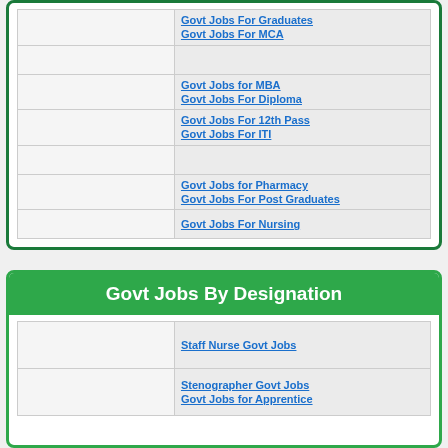|  | Govt Jobs For Graduates
Govt Jobs For MCA |
|  |  |
|  | Govt Jobs for MBA
Govt Jobs For Diploma |
|  | Govt Jobs For 12th Pass
Govt Jobs For ITI |
|  |  |
|  | Govt Jobs for Pharmacy
Govt Jobs For Post Graduates |
|  | Govt Jobs For Nursing |
Govt Jobs By Designation
|  | Staff Nurse Govt Jobs |
|  | Stenographer Govt Jobs
Govt Jobs for Apprentice |